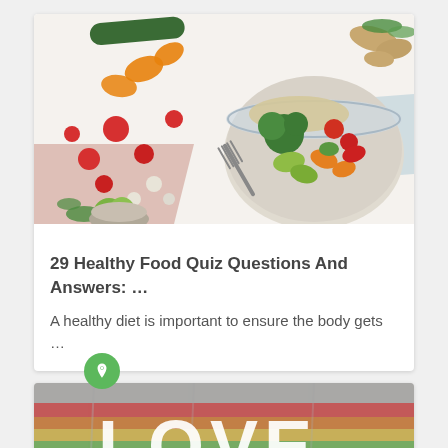[Figure (photo): Overhead photo of colorful vegetables including tomatoes, carrots, zucchini, herbs, and a bowl of mixed grain salad with broccoli, on a white marble surface with a fork and cloth napkin]
29 Healthy Food Quiz Questions And Answers: …
A healthy diet is important to ensure the body gets …
[Figure (photo): Photo of a colorful rainbow-striped banner or flag with the word LOVE on it in white letters]